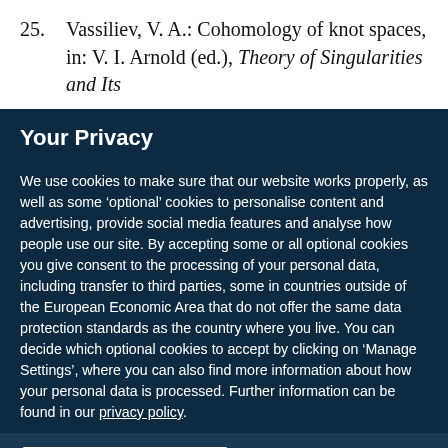25. Vassiliev, V. A.: Cohomology of knot spaces, in: V. I. Arnold (ed.), Theory of Singularities and Its
Your Privacy
We use cookies to make sure that our website works properly, as well as some ‘optional’ cookies to personalise content and advertising, provide social media features and analyse how people use our site. By accepting some or all optional cookies you give consent to the processing of your personal data, including transfer to third parties, some in countries outside of the European Economic Area that do not offer the same data protection standards as the country where you live. You can decide which optional cookies to accept by clicking on ‘Manage Settings’, where you can also find more information about how your personal data is processed. Further information can be found in our privacy policy.
Accept all cookies
Manage preferences